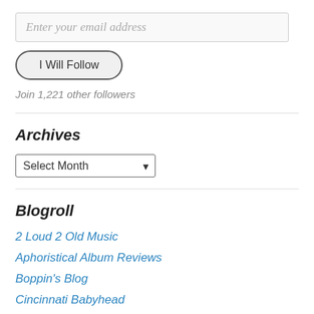Enter your email address
I Will Follow
Join 1,221 other followers
Archives
Select Month
Blogroll
2 Loud 2 Old Music
Aphoristical Album Reviews
Boppin's Blog
Cincinnati Babyhead
hotfox63